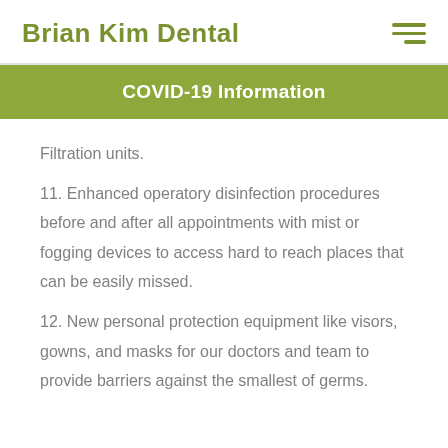Brian Kim Dental
COVID-19 Information
Filtration units.
11. Enhanced operatory disinfection procedures before and after all appointments with mist or fogging devices to access hard to reach places that can be easily missed.
12. New personal protection equipment like visors, gowns, and masks for our doctors and team to provide barriers against the smallest of germs.